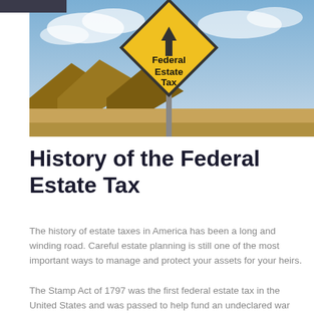[Figure (photo): Hero image showing a yellow diamond-shaped road sign reading 'Federal Estate Tax' with an upward arrow, set against a blue sky with desert landscape in background.]
History of the Federal Estate Tax
The history of estate taxes in America has been a long and winding road. Careful estate planning is still one of the most important ways to manage and protect your assets for your heirs.
The Stamp Act of 1797 was the first federal estate tax in the United States and was passed to help fund an undeclared war with France; it was repealed in 1802